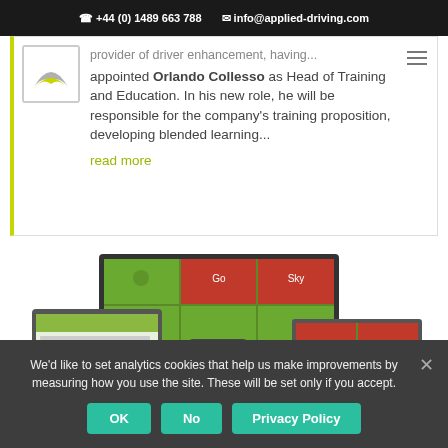+44 (0) 1489 663 788   info@applied-driving.com
...appointed Orlando Collesso as Head of Training and Education. In his new role, he will be responsible for the company's training proposition, developing blended learning...
read more
[Figure (screenshot): Screenshot of applied-driving.com website displayed across multiple devices: desktop monitor, tablet, and smartphone showing green and red tile-based interface]
We'd like to set analytics cookies that help us make improvements by measuring how you use the site. These will be set only if you accept.
OK   No   Privacy Policy